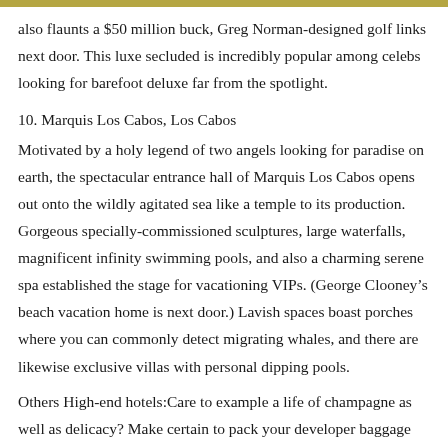also flaunts a $50 million buck, Greg Norman-designed golf links next door. This luxe secluded is incredibly popular among celebs looking for barefoot deluxe far from the spotlight.
10. Marquis Los Cabos, Los Cabos
Motivated by a holy legend of two angels looking for paradise on earth, the spectacular entrance hall of Marquis Los Cabos opens out onto the wildly agitated sea like a temple to its production. Gorgeous specially-commissioned sculptures, large waterfalls, magnificent infinity swimming pools, and also a charming serene spa established the stage for vacationing VIPs. (George Clooney’s beach vacation home is next door.) Lavish spaces boast porches where you can commonly detect migrating whales, and there are likewise exclusive villas with personal dipping pools.
Others High-end hotels:Care to example a life of champagne as well as delicacy? Make certain to pack your developer baggage for this fun countdown of the globe’s most extravagant (and also pricey) hotels.